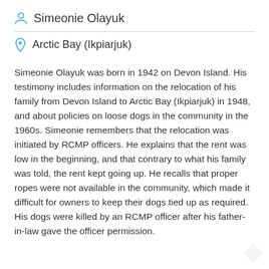Simeonie Olayuk
Arctic Bay (Ikpiarjuk)
Simeonie Olayuk was born in 1942 on Devon Island. His testimony includes information on the relocation of his family from Devon Island to Arctic Bay (Ikpiarjuk) in 1948, and about policies on loose dogs in the community in the 1960s. Simeonie remembers that the relocation was initiated by RCMP officers. He explains that the rent was low in the beginning, and that contrary to what his family was told, the rent kept going up. He recalls that proper ropes were not available in the community, which made it difficult for owners to keep their dogs tied up as required. His dogs were killed by an RCMP officer after his father-in-law gave the officer permission.